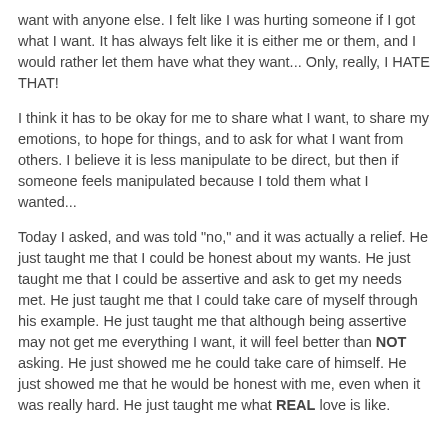want with anyone else. I felt like I was hurting someone if I got what I want. It has always felt like it is either me or them, and I would rather let them have what they want... Only, really, I HATE THAT!
I think it has to be okay for me to share what I want, to share my emotions, to hope for things, and to ask for what I want from others. I believe it is less manipulate to be direct, but then if someone feels manipulated because I told them what I wanted...
Today I asked, and was told "no," and it was actually a relief. He just taught me that I could be honest about my wants. He just taught me that I could be assertive and ask to get my needs met. He just taught me that I could take care of myself through his example. He just taught me that although being assertive may not get me everything I want, it will feel better than NOT asking. He just showed me he could take care of himself. He just showed me that he would be honest with me, even when it was really hard. He just taught me what REAL love is like.